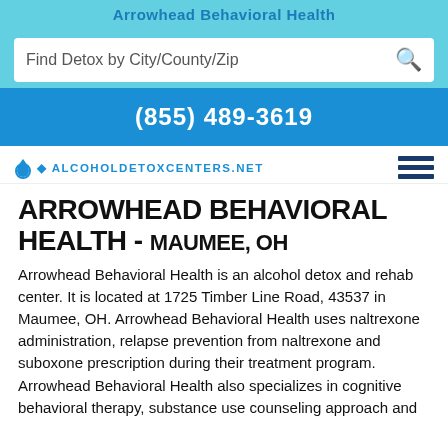Arrowhead Behavioral Health
Find Detox by City/County/Zip
(855) 489-3619
AlcoholDetoxCenters.net
ARROWHEAD BEHAVIORAL HEALTH - MAUMEE, OH
Arrowhead Behavioral Health is an alcohol detox and rehab center. It is located at 1725 Timber Line Road, 43537 in Maumee, OH. Arrowhead Behavioral Health uses naltrexone administration, relapse prevention from naltrexone and suboxone prescription during their treatment program. Arrowhead Behavioral Health also specializes in cognitive behavioral therapy, substance use counseling approach and